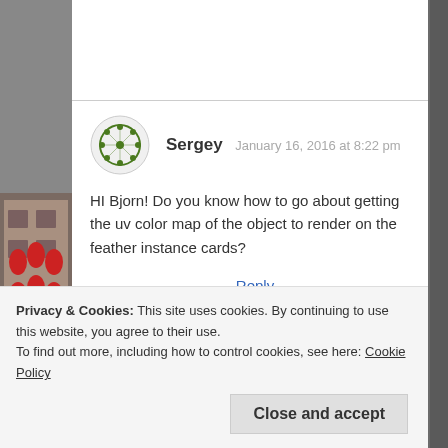[Figure (photo): Left sidebar with photo strip showing red lanterns on a building facade]
Sergey  January 16, 2016 at 8:22 pm
HI Bjorn! Do you know how to go about getting the uv color map of the object to render on the feather instance cards?
Reply
Privacy & Cookies: This site uses cookies. By continuing to use this website, you agree to their use.
To find out more, including how to control cookies, see here: Cookie Policy
Close and accept